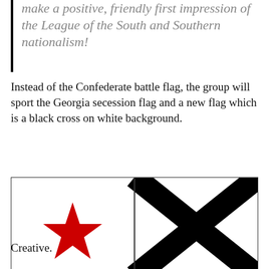make a positive, friendly first impression of the League of the South and Southern nationalism!
Instead of the Confederate battle flag, the group will sport the Georgia secession flag and a new flag which is a black cross on white background.
[Figure (illustration): Two flags side by side: left flag is white with a red star (Georgia secession flag), right flag is black background with a black cross on white (Saint Andrew's cross / black cross on white background).]
Creative.